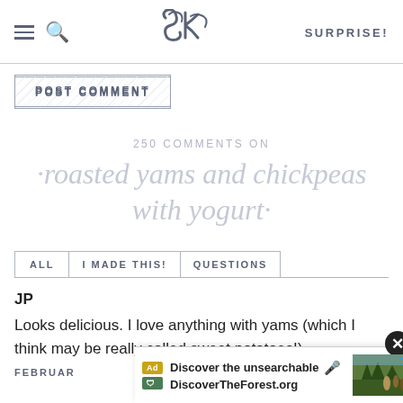SK — SURPRISE!
POST COMMENT
250 COMMENTS ON · roasted yams and chickpeas with yogurt·
ALL   I MADE THIS!   QUESTIONS
JP
Looks delicious. I love anything with yams (which I think may be really called sweet potatoes!).
FEBRUARY
[Figure (screenshot): Ad overlay: Discover the unsearchable — DiscoverTheForest.org, with forest image and close button]